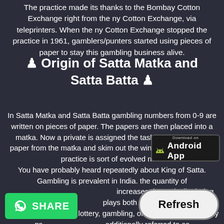The practice made its thanks to the Bombay Cotton Exchange right from the ny Cotton Exchange, via teleprinters. When the ny Cotton Exchange stopped the practice in 1961, gamblers/punters started using pieces of paper to stay this gambling business alive.
♟ Origin of Satta Matka and Satta Batta ♟
In Satta Matka and Satta Batta gambling numbers from 0-9 are written on pieces of paper. The papers are then placed into a matka. Now a private is assigned the task to select a bit of paper from the matka and skim out the winning numbers. The practice is sort of evolved now. You have probably heard repeatedly about King of Satta. Gambling is prevalent in India. the quantity of increases dramatically during the unique festiv plays both offline and online. Satta King may be a sort of lottery, gambling, or luck by an opportunity ga additionally referred to as Satta that want to urge rich quickly are playing this game. Satter
[Figure (other): Download on Android App badge button]
[Figure (other): WhatsApp SHARE green button]
[Figure (other): Refresh oval button]